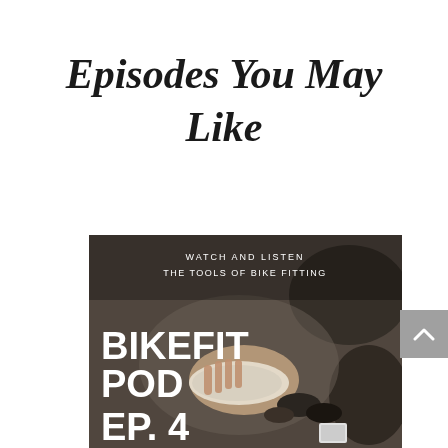Episodes You May Like
[Figure (photo): Podcast artwork for BikeFit Pod Ep. 4 showing hands working with bike fitting tools (shoe insoles and wedges on a floor). Text overlay reads: WATCH AND LISTEN / THE TOOLS OF BIKE FITTING / BIKEFIT POD EP. 4]